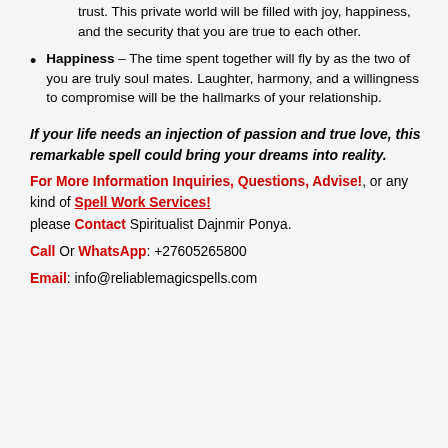trust. This private world will be filled with joy, happiness, and the security that you are true to each other.
Happiness – The time spent together will fly by as the two of you are truly soul mates. Laughter, harmony, and a willingness to compromise will be the hallmarks of your relationship.
If your life needs an injection of passion and true love, this remarkable spell could bring your dreams into reality.
For More Information Inquiries, Questions, Advise!, or any kind of Spell Work Services! please Contact Spiritualist Dajnmir Ponya.
Call Or WhatsApp: +27605265800
Email: info@reliablemagicspells.com